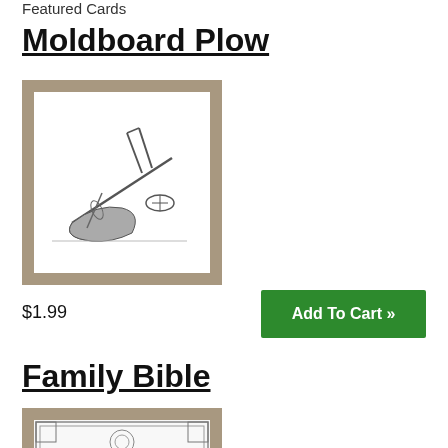Featured Cards
Moldboard Plow
[Figure (illustration): Pencil sketch illustration of a moldboard plow on a tan/beige card with white mat border]
$1.99
Add To Cart »
Family Bible
[Figure (illustration): Decorative illustration of a Family Bible cover with ornate Gothic lettering on a tan/beige card with white mat border]